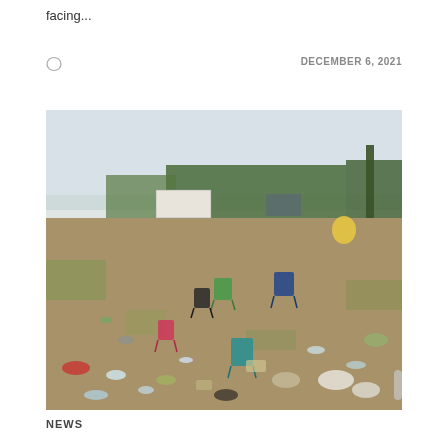facing...
DECEMBER 6, 2021
[Figure (photo): Outdoor field littered with abandoned camping chairs, plastic bottles, bags, and festival waste scattered across a dirt and grass field, with trees and vehicles visible in the background under a hazy sky.]
NEWS